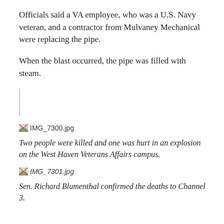Officials said a VA employee, who was a U.S. Navy veteran, and a contractor from Mulvaney Mechanical were replacing the pipe.
When the blast occurred, the pipe was filled with steam.
[Figure (photo): Broken image placeholder labeled IMG_7300.jpg]
Two people were killed and one was hurt in an explosion on the West Haven Veterans Affairs campus.
[Figure (photo): Broken image placeholder labeled IMG_7301.jpg]
Sen. Richard Blumenthal confirmed the deaths to Channel 3.